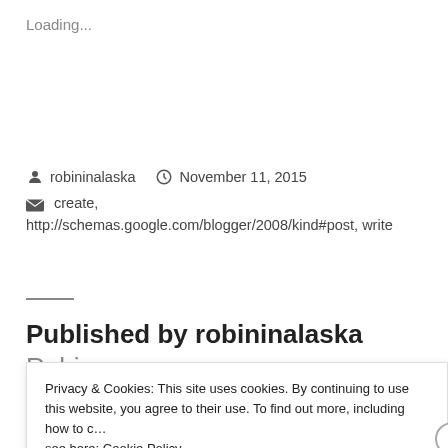Loading...
robininalaska   November 11, 2015   create, http://schemas.google.com/blogger/2008/kind#post, write
Published by robininalaska Robin
Privacy & Cookies: This site uses cookies. By continuing to use this website, you agree to their use. To find out more, including how to c… see here: Cookie Policy
Close and accept